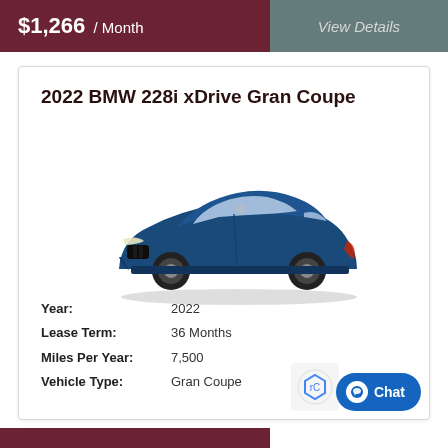$1,266 / Month
View Details
2022 BMW 228i xDrive Gran Coupe
[Figure (photo): Blue 2022 BMW 228i xDrive Gran Coupe sedan shown from a front three-quarter angle]
Year: 2022
Lease Term: 36 Months
Miles Per Year: 7,500
Vehicle Type: Gran Coupe